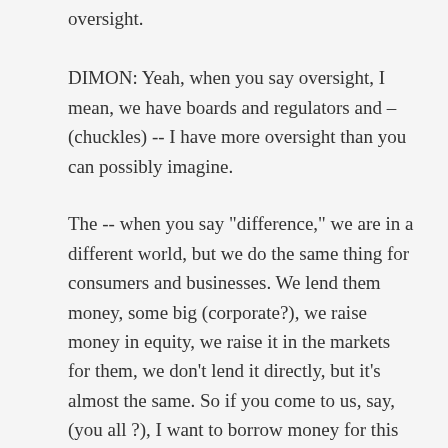oversight.
DIMON: Yeah, when you say oversight, I mean, we have boards and regulators and – (chuckles) -- I have more oversight than you can possibly imagine.
The -- when you say "difference," we are in a different world, but we do the same thing for consumers and businesses. We lend them money, some big (corporate?), we raise money in equity, we raise it in the markets for them, we don't lend it directly, but it's almost the same. So if you come to us, say, (you all ?), I want to borrow money for this project, we may say, well, your cheapest route is a bank loan, or it be going to public markets, and